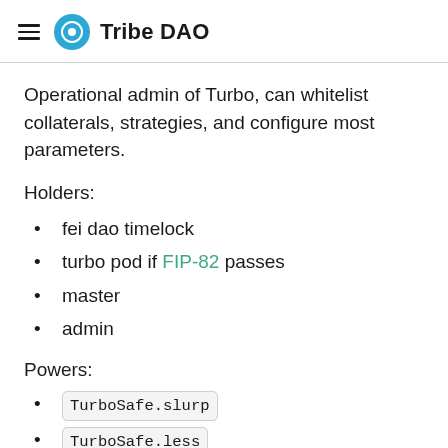Tribe DAO
Operational admin of Turbo, can whitelist collaterals, strategies, and configure most parameters.
Holders:
fei dao timelock
turbo pod if FIP-82 passes
master
admin
Powers:
TurboSafe.slurp
TurboSafe.less